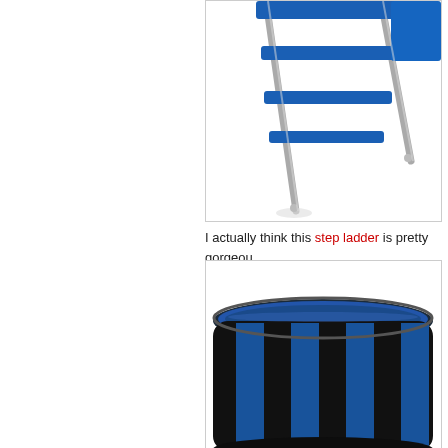[Figure (photo): Partial view of a blue and silver step ladder on white background, cropped at top]
I actually think this step ladder is pretty gorgeous
[Figure (photo): Partial view of a black and blue ceramic pot/mug with stripe pattern, cropped at bottom]